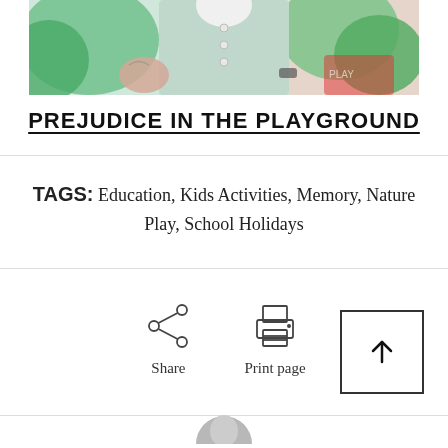[Figure (photo): Close-up photo of a person wearing a light mint/sage green button-up shirt, with green foliage and pink elements in the background]
PREJUDICE IN THE PLAYGROUND
TAGS: Education, Kids Activities, Memory, Nature Play, School Holidays
[Figure (illustration): Share icon (circle network) and Print page icon (printer), plus a back-to-top arrow button]
[Figure (photo): Partial avatar/profile photo at the bottom of the page]